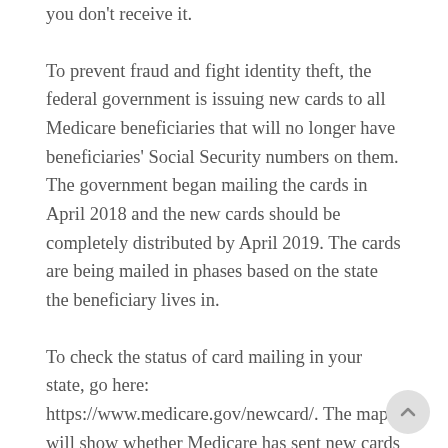you don't receive it.
To prevent fraud and fight identity theft, the federal government is issuing new cards to all Medicare beneficiaries that will no longer have beneficiaries' Social Security numbers on them. The government began mailing the cards in April 2018 and the new cards should be completely distributed by April 2019. The cards are being mailed in phases based on the state the beneficiary lives in.
To check the status of card mailing in your state, go here: https://www.medicare.gov/newcard/. The map will show whether Medicare has sent new cards to your state. Once Medicare starts mailing cards to your state, it can take up to a month to receive the card. If the government has finished mailing the cards to your state, and you not receive a card, contact Medicare right away at 1-800-